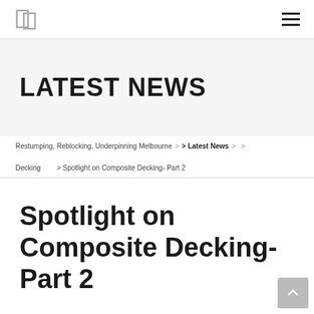Logo | hamburger menu nav bar
LATEST NEWS
Restumping, Reblocking, Underpinning Melbourne > Latest News > > > Decking > Spotlight on Composite Decking- Part 2
Spotlight on Composite Decking- Part 2